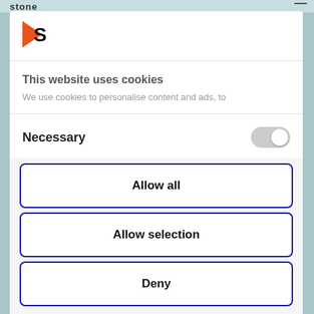Stone
[Figure (logo): Orange and black stylized 'S' logo mark]
This website uses cookies
We use cookies to personalise content and ads, to
Necessary
[Figure (other): Toggle switch in off/gray position]
Allow all
Allow selection
Deny